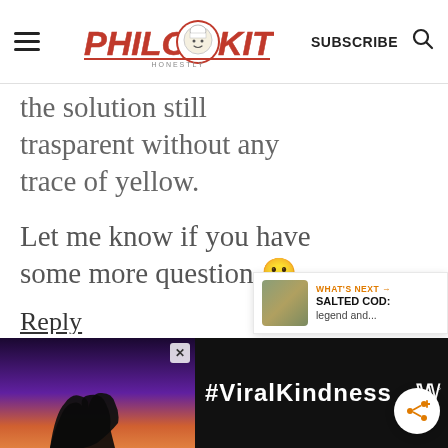PHILOS KITCHEN | SUBSCRIBE
the solution still trasparent without any trace of yellow.

Let me know if you have some more question 🙂
Reply
[Figure (screenshot): Share button (orange share icon on white circle)]
[Figure (screenshot): What's Next widget showing: SALTED COD: legend and...]
[Figure (photo): Advertisement banner: #ViralKindness with hands forming heart shape silhouette against sunset sky, dark background, with close button X and W° logo]